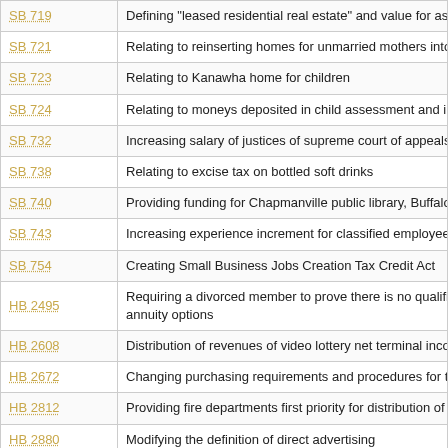| Bill | Description |
| --- | --- |
| SB 719 | Defining "leased residential real estate" and value for assessment |
| SB 721 | Relating to reinserting homes for unmarried mothers into definition |
| SB 723 | Relating to Kanawha home for children |
| SB 724 | Relating to moneys deposited in child assessment and in-state pla |
| SB 732 | Increasing salary of justices of supreme court of appeals and circu |
| SB 738 | Relating to excise tax on bottled soft drinks |
| SB 740 | Providing funding for Chapmanville public library, Buffalo Creek m |
| SB 743 | Increasing experience increment for classified employees |
| SB 754 | Creating Small Business Jobs Creation Tax Credit Act |
| HB 2495 | Requiring a divorced member to prove there is no qualified domest... annuity options |
| HB 2608 | Distribution of revenues of video lottery net terminal income to the |
| HB 2672 | Changing purchasing requirements and procedures for the state ra |
| HB 2812 | Providing fire departments first priority for distribution of surplus p |
| HB 2880 | Modifying the definition of direct advertising |
| HB 4957 | Authorizing the regional jail and correctional facility authority to |